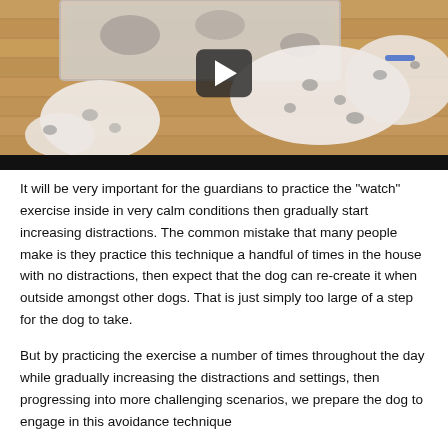[Figure (photo): Video thumbnail showing a Dalmatian dog lying on a wooden floor next to a shaggy rug, with a dark play button overlay in the center and a black video progress bar at the bottom.]
It will be very important for the guardians to practice the "watch" exercise inside in very calm conditions then gradually start increasing distractions. The common mistake that many people make is they practice this technique a handful of times in the house with no distractions, then expect that the dog can re-create it when outside amongst other dogs. That is just simply too large of a step for the dog to take.
But by practicing the exercise a number of times throughout the day while gradually increasing the distractions and settings, then progressing into more challenging scenarios, we prepare the dog to engage in this avoidance technique